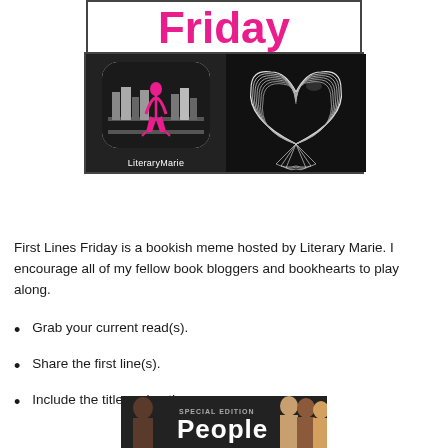[Figure (logo): First Lines Friday banner with LiteraryMarie logo and heart-shaped book pages image]
First Lines Friday is a bookish meme hosted by Literary Marie. I encourage all of my fellow book bloggers and bookhearts to play along.
Grab your current read(s).
Share the first line(s).
Include the title and author.
[Figure (photo): People magazine special edition cover partially visible at bottom of page]